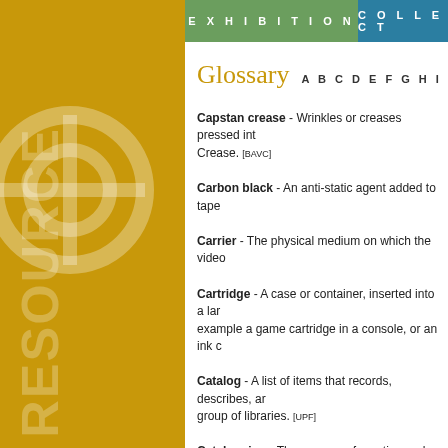EXHIBITION   COLLECT
Glossary
A B C D E F G H I J K L M N O
Capstan crease - Wrinkles or creases pressed int... Crease. [BAVC]
Carbon black - An anti-static agent added to tape...
Carrier - The physical medium on which the video...
Cartridge - A case or container, inserted into a lar... example a game cartridge in a console, or an ink c...
Catalog - A list of items that records, describes, ar... group of libraries. [UPF]
Cataloguing - The process of creating and arrang... identification, search and retrieval, acquisitions, ci...